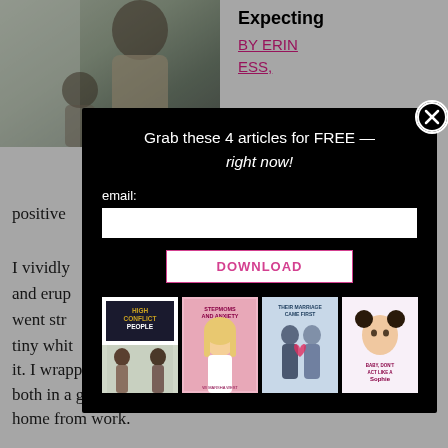[Figure (photo): Photo of a pregnant woman near a window]
Expecting
BY ERIN
ESS,
e, two
positive
I vividly
est strip
and erup
iggles. I
went str
ght a
tiny whit
ed on
it. I wrapped the pregnancy test in the onesie, placed them both in a gift bag and impatiently waited for him to come home from work.
[Figure (screenshot): Modal popup with email signup offering 4 free articles, with book cover thumbnails for High Conflict People, Stepmoms and Anxiety, Their Marriage Came First, and an article about not acting like a Sophie]
Grab these 4 articles for FREE — right now!
email:
DOWNLOAD